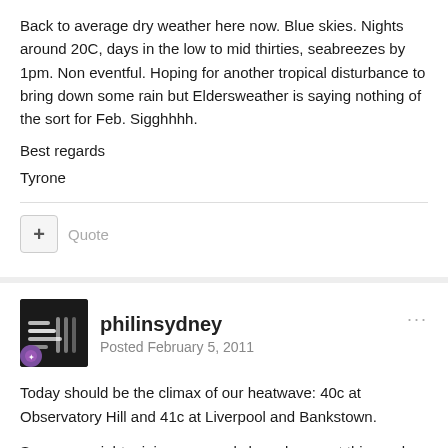Back to average dry weather here now. Blue skies. Nights around 20C, days in the low to mid thirties, seabreezes by 1pm. Non eventful. Hoping for another tropical disturbance to bring down some rain but Eldersweather is saying nothing of the sort for Feb. Sigghhhh.
Best regards
Tyrone
philinsydney
Posted February 5, 2011
Today should be the climax of our heatwave: 40c at Observatory Hill and 41c at Liverpool and Bankstown.
Some overnight minimum records have been set this week including 26c at Bankstown and 3 nights above 24c at Observatory Hill. More like Tokyo than